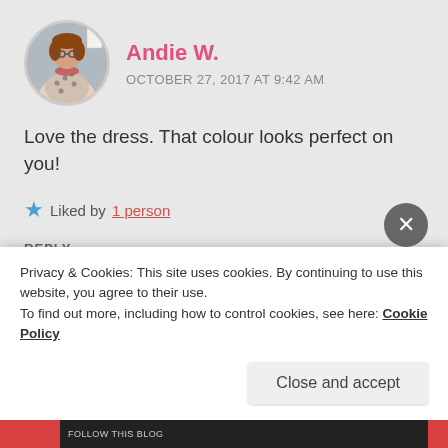[Figure (photo): Circular avatar photo of a woman wearing a patterned sweater, standing in front of a wall with art]
Andie W.
OCTOBER 27, 2017 AT 9:42 AM
Love the dress. That colour looks perfect on you!
★ Liked by 1 person
REPLY
[Figure (photo): Partial circular avatar photo of a second commenter]
Lori B.
Privacy & Cookies: This site uses cookies. By continuing to use this website, you agree to their use.
To find out more, including how to control cookies, see here: Cookie Policy
Close and accept